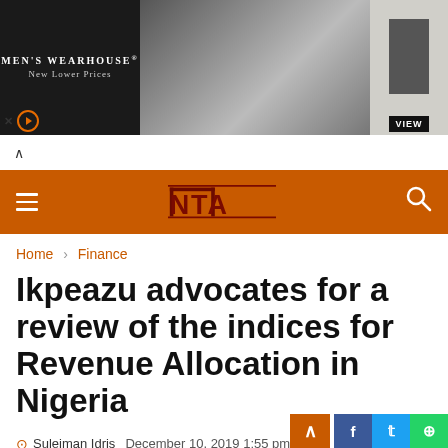[Figure (other): Men's Wearhouse advertisement banner showing a couple in formal wear and a man in a suit with VIEW button]
NTA navigation bar with hamburger menu, NTA logo, and search icon
Home › Finance
Ikpeazu advocates for a review of the indices for Revenue Allocation in Nigeria
Suleiman Idris   December 10, 2019 1:55 pm   0